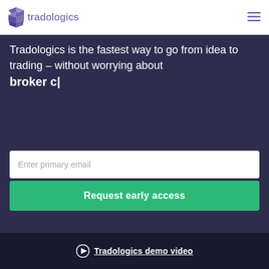[Figure (logo): Tradologics logo with purple geometric icon and wordmark 'tradologics']
Tradologics is the fastest way to go from idea to trading – without worrying about broker c|
Enter primary email
Request early access
Tradologics demo video